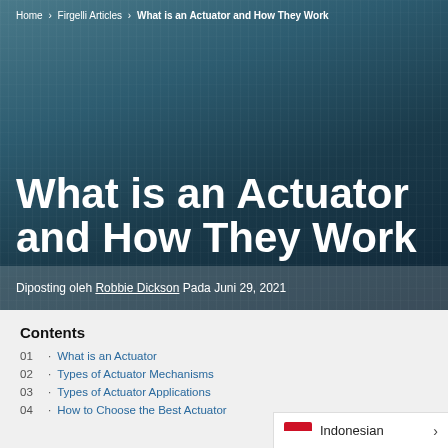Home > Firgelli Articles > What is an Actuator and How They Work
What is an Actuator and How They Work
Diposting oleh Robbie Dickson Pada Juni 29, 2021
Contents
01 · What is an Actuator
02 · Types of Actuator Mechanisms
03 · Types of Actuator Applications
04 · How to Choose the Best Actuator
Indonesian >